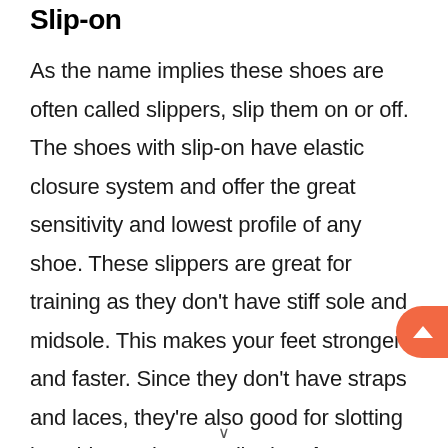Slip-on
As the name implies these shoes are often called slippers, slip them on or off. The shoes with slip-on have elastic closure system and offer the great sensitivity and lowest profile of any shoe. These slippers are great for training as they don't have stiff sole and midsole. This makes your feet stronger and faster. Since they don't have straps and laces, they're also good for slotting into thin cracks as well. The Five Ten